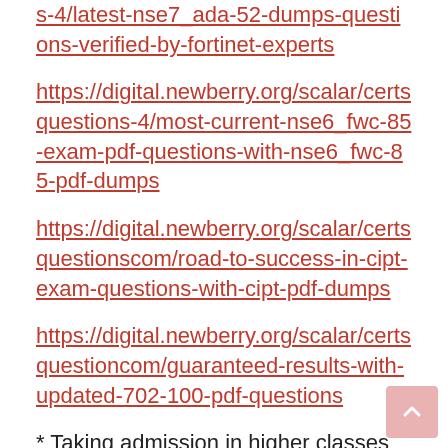s-4/latest-nse7_ada-52-dumps-questions-verified-by-fortinet-experts (link)
https://digital.newberry.org/scalar/certsquestions-4/most-current-nse6_fwc-85-exam-pdf-questions-with-nse6_fwc-85-pdf-dumps
https://digital.newberry.org/scalar/certsquestionscom/road-to-success-in-cipt-exam-questions-with-cipt-pdf-dumps
https://digital.newberry.org/scalar/certsquestioncom/guaranteed-results-with-updated-702-100-pdf-questions
* Taking admission in higher classes
* Paying class and other tuition fees
* Buying study materials and uniforms